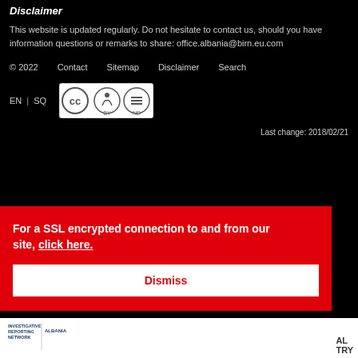Disclaimer
This website is updated regularly. Do not hesitate to contact us, should you have information questions or remarks to share: office.albania@birn.eu.com
© 2022   Contact   Sitemap   Disclaimer   Search
EN | SQ
[Figure (logo): Creative Commons CC BY ND license badge]
Last change: 2018/02/21
For a SSL encrypted connection to and from our site, click here.
Dismiss
[Figure (logo): BIRN Albania Investigative Reporting Network logo at bottom left]
AL
TRY